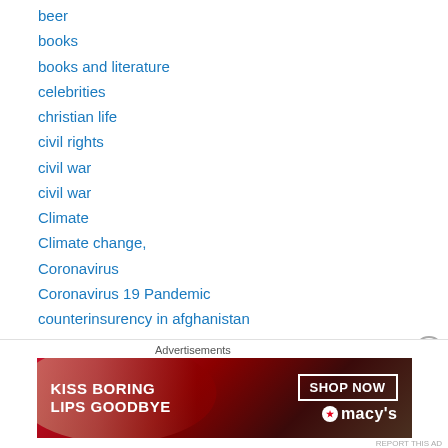beer
books
books and literature
celebrities
christian life
civil rights
civil war
civil war
Climate
Climate change,
Coronavirus
Coronavirus 19 Pandemic
counterinsurency in afghanistan
COVID19
crime
crimes against humanity
[Figure (illustration): Macy's advertisement banner: 'KISS BORING LIPS GOODBYE' with a woman's face and red lips, SHOP NOW button and Macy's star logo]